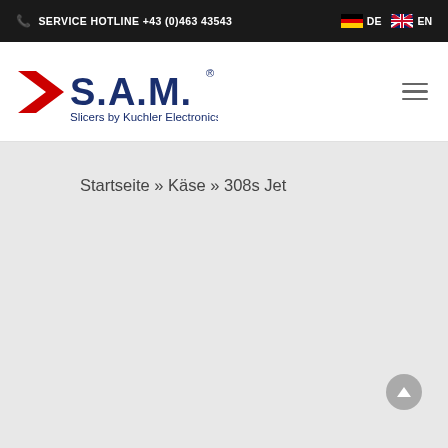SERVICE HOTLINE +43 (0)463 43543  DE  EN
[Figure (logo): S.A.M. Slicers by Kuchler Electronics logo with red chevron arrow and blue bold text]
Startseite » Käse » 308s Jet